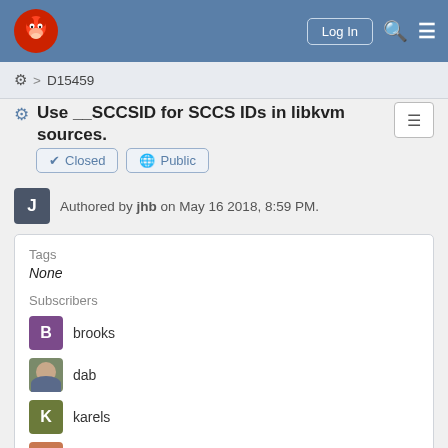FreeBSD Phabricator — Log In
⚙ > D15459
Use __SCCSID for SCCS IDs in libkvm sources.
✔ Closed   🌐 Public
Authored by jhb on May 16 2018, 8:59 PM.
Tags
None
Subscribers
brooks
dab
karels
rgrimes